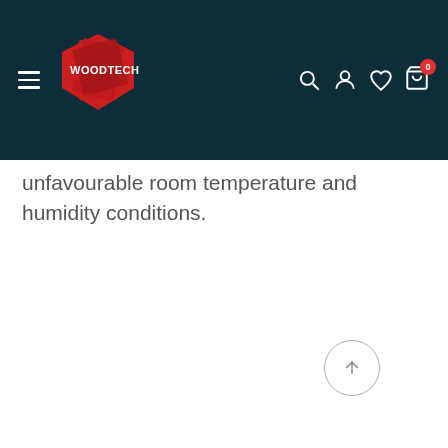[Figure (screenshot): WoodTech e-commerce website navigation bar with hamburger menu, red diamond logo with WOODTECH text, and icons for search, account, wishlist, and cart with badge showing 0]
unfavourable room temperature and humidity conditions.